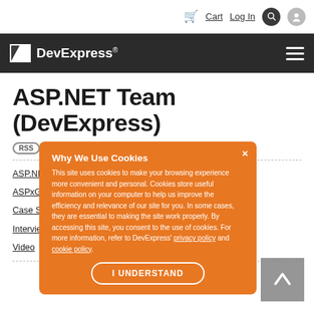Cart  Log In
ASP.NET Team (DevExpress)
Home > All Tags > SharePoint
Why We Use Cookies - This site uses cookies to make your browsing experience more convenient and personal. Cookies store useful information on your computer to help us improve the efficiency and relevance of our site for you. In some cases, they are essential to making the site work properly. By accessing this site, you consent to the use of cookies. For more information, refer to DevExpress' privacy policy and cookie policy.
ASP.NET
ASPxGridView
Case Study
Interview
Video
Webinar
GridView
rience
Gauges
v2012.2
AutoCreate